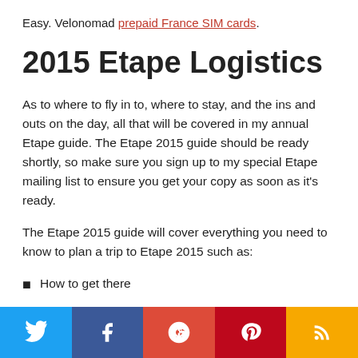Easy. Velonomad prepaid France SIM cards.
2015 Etape Logistics
As to where to fly in to, where to stay, and the ins and outs on the day, all that will be covered in my annual Etape guide. The Etape 2015 guide should be ready shortly, so make sure you sign up to my special Etape mailing list to ensure you get your copy as soon as it's ready.
The Etape 2015 guide will cover everything you need to know to plan a trip to Etape 2015 such as:
How to get there